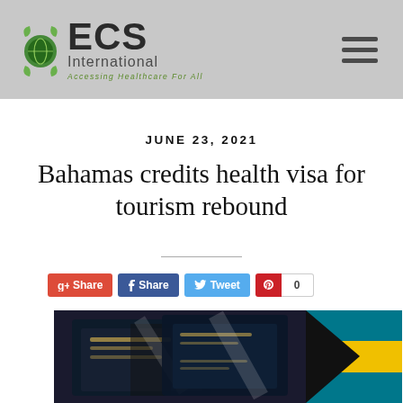ECS International — Accessing Healthcare For All
JUNE 23, 2021
Bahamas credits health visa for tourism rebound
Share  Share  Tweet  0
[Figure (photo): Photo showing passports on left and Bahamas flag on right]